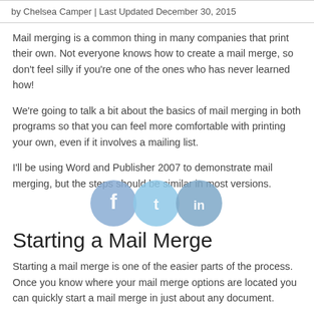by Chelsea Camper | Last Updated December 30, 2015
Mail merging is a common thing in many companies that print their own. Not everyone knows how to create a mail merge, so don't feel silly if you're one of the ones who has never learned how!
We're going to talk a bit about the basics of mail merging in both programs so that you can feel more comfortable with printing your own, even if it involves a mailing list.
I'll be using Word and Publisher 2007 to demonstrate mail merging, but the steps should be similar in most versions.
[Figure (illustration): Three social media sharing icons: Facebook, Twitter, LinkedIn, overlapping horizontally, rendered as light blue/grey circles]
Starting a Mail Merge
Starting a mail merge is one of the easier parts of the process. Once you know where your mail merge options are located you can quickly start a mail merge in just about any document.